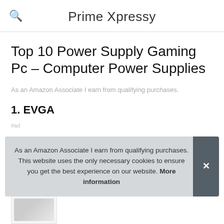Prime Xpressy
Top 10 Power Supply Gaming Pc – Computer Power Supplies
As an Amazon Associate I earn from qualifying purchases.
1. EVGA
#ad
As an Amazon Associate I earn from qualifying purchases. This website uses the only necessary cookies to ensure you get the best experience on our website. More information